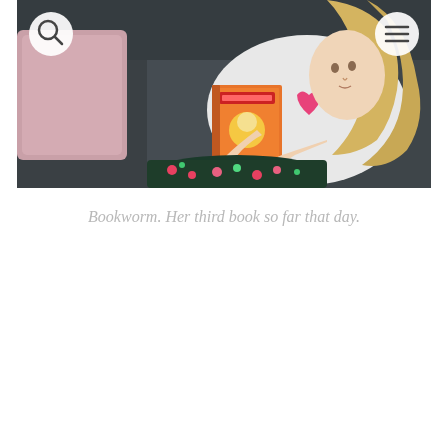[Figure (photo): A young blonde girl sitting on a dark leather couch reading a book. She is wearing a white t-shirt with a pink heart design and floral patterned leggings. She holds an orange book and appears absorbed in reading. A pink cushion is visible in the background. A search icon (magnifying glass) appears in the top-left of the image and a hamburger menu icon appears in the top-right.]
Bookworm. Her third book so far that day.